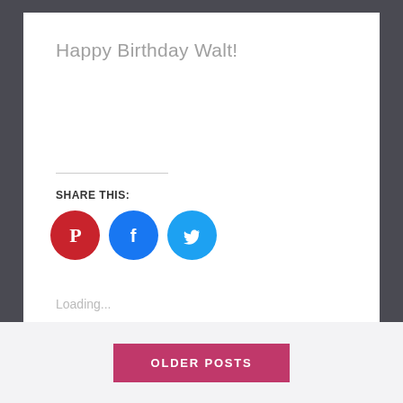Happy Birthday Walt!
SHARE THIS:
[Figure (illustration): Social share icons: Pinterest (red circle with P), Facebook (blue circle with f), Twitter (light blue circle with bird)]
Loading...
OLDER POSTS